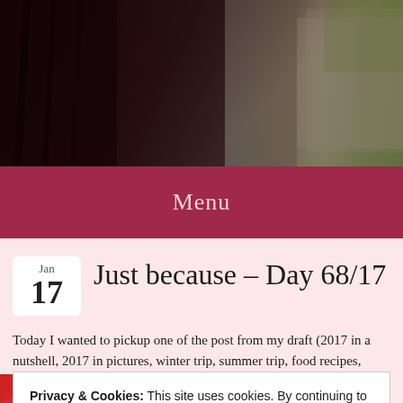[Figure (photo): Header banner photo showing a dark interior room with curtains on the left and natural light coming through a window on the right, with outdoor greenery visible]
Menu
Just because – Day 68/17
Today I wanted to pickup one of the post from my draft (2017 in a nutshell, 2017 in pictures, winter trip, summer trip, food recipes, Adile...
Privacy & Cookies: This site uses cookies. By continuing to use this website, you agree to their use.
To find out more, including how to control cookies, see here: Cookie Policy
Close and accept
[Figure (screenshot): Bottom thumbnail image with red background showing a Tamil movie or show title 'Pannaivarum Padminiyum - Ona']